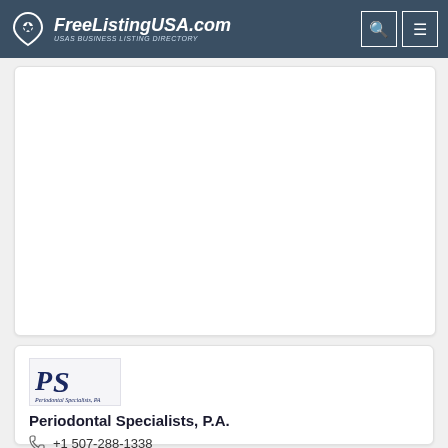FreeListingUSA.com — USAs BUSINESS LISTING DIRECTORY
[Figure (other): Advertisement placeholder card (blank white card)]
[Figure (logo): Periodontal Specialists, P.A. logo — stylized PS monogram with company name below]
Periodontal Specialists, P.A.
+1 507-288-1338